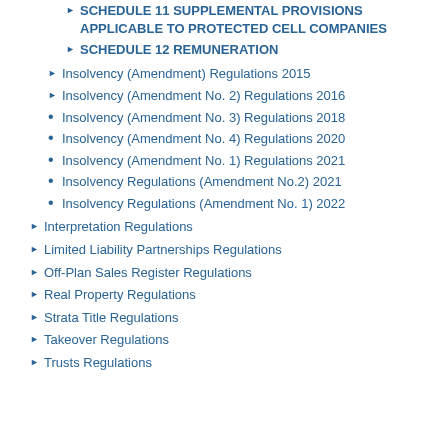SCHEDULE 11 SUPPLEMENTAL PROVISIONS APPLICABLE TO PROTECTED CELL COMPANIES
SCHEDULE 12 REMUNERATION
Insolvency (Amendment) Regulations 2015
Insolvency (Amendment No. 2) Regulations 2016
Insolvency (Amendment No. 3) Regulations 2018
Insolvency (Amendment No. 4) Regulations 2020
Insolvency (Amendment No. 1) Regulations 2021
Insolvency Regulations (Amendment No.2) 2021
Insolvency Regulations (Amendment No. 1) 2022
Interpretation Regulations
Limited Liability Partnerships Regulations
Off-Plan Sales Register Regulations
Real Property Regulations
Strata Title Regulations
Takeover Regulations
Trusts Regulations